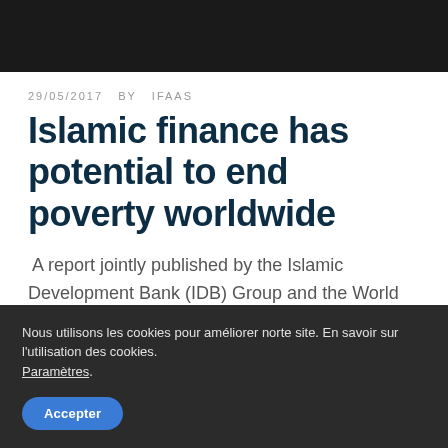29/05/2017  BY  IFAAS
Islamic finance has potential to end poverty worldwide
A report jointly published by the Islamic Development Bank (IDB) Group and the World Bank Group has outlined the potential of Islamic finance in curbing income inequality and ending
Nous utilisons les cookies pour améliorer norte site. En savoir sur l'utilisation des cookies. Paramètres. Accepter